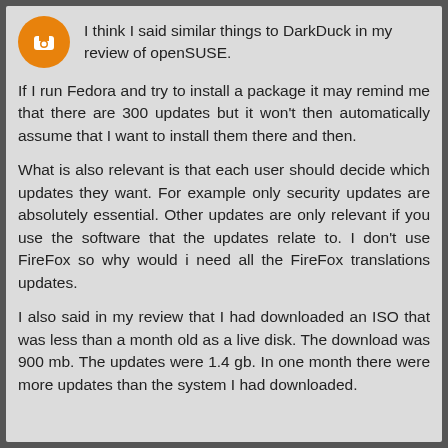[Figure (logo): Orange circular Blogger avatar icon]
I think I said similar things to DarkDuck in my review of openSUSE.
If I run Fedora and try to install a package it may remind me that there are 300 updates but it won't then automatically assume that I want to install them there and then.
What is also relevant is that each user should decide which updates they want. For example only security updates are absolutely essential. Other updates are only relevant if you use the software that the updates relate to. I don't use FireFox so why would i need all the FireFox translations updates.
I also said in my review that I had downloaded an ISO that was less than a month old as a live disk. The download was 900 mb. The updates were 1.4 gb. In one month there were more updates than the system I had downloaded.